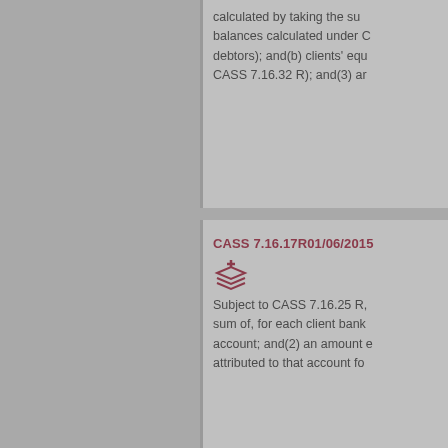calculated by taking the sum balances calculated under C debtors); and(b) clients' equ CASS 7.16.32 R); and(3) an
CASS 7.16.17R01/06/2015
Subject to CASS 7.16.25 R, sum of, for each client bank account; and(2) an amount attributed to that account fo
CASS 7.16.22E01/06/2015
(1)
A firm may calculate either: